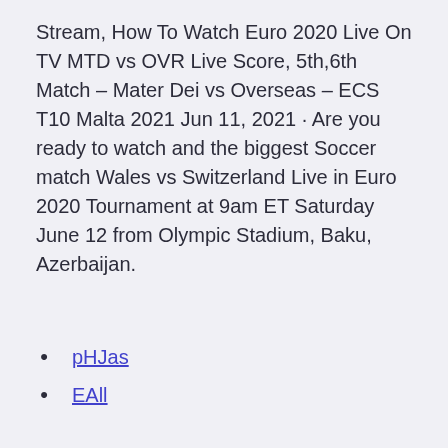Stream, How To Watch Euro 2020 Live On TV MTD vs OVR Live Score, 5th,6th Match – Mater Dei vs Overseas – ECS T10 Malta 2021 Jun 11, 2021 · Are you ready to watch and the biggest Soccer match Wales vs Switzerland Live in Euro 2020 Tournament at 9am ET Saturday June 12 from Olympic Stadium, Baku, Azerbaijan.
pHJas
EAll